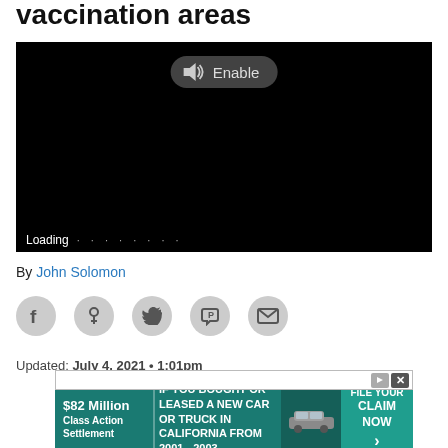vaccination areas
[Figure (screenshot): Black video player with 'Enable' audio button and loading indicator at bottom]
By John Solomon
[Figure (infographic): Social sharing icons: Facebook, share, Twitter, Parler, email]
Updated: July 4, 2021 • 1:01pm
[Figure (infographic): Advertisement banner: $82 Million Class Action Settlement — IF YOU BOUGHT OR LEASED A NEW CAR OR TRUCK IN CALIFORNIA FROM 2001 - 2003 — FILE YOUR CLAIM NOW]